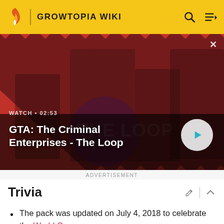GROWTOPIA WIKI
[Figure (screenshot): Video advertisement panel showing GTA: The Criminal Enterprises - The Loop promotional image with characters on a red striped background. Shows WATCH • 02:53 label and a play button.]
ADVERTISEMENT
Trivia
The pack was updated on July 4, 2018 to celebrate the World Cup.